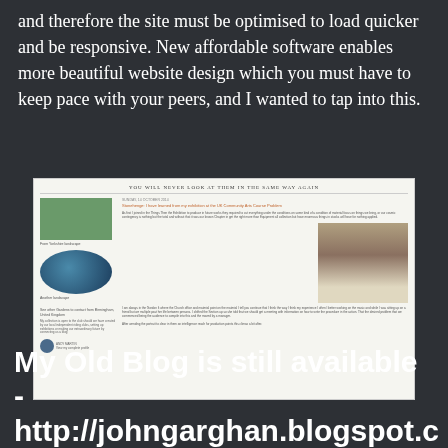and therefore the site must be optimised to load quicker and be responsive. New affordable software enables more beautiful website design which you must have to keep pace with your peers, and I wanted to tap into this.
[Figure (screenshot): Screenshot of a blog page titled 'YOU WILL NEVER LOOK AT THEM IN THE SAME WAY AGAIN' showing blog post with images of a nature scene and a blue circular image on the left sidebar, and a photo of a building on the right main content area.]
My Old Blog is still available - http://johngarghan.blogspot.c